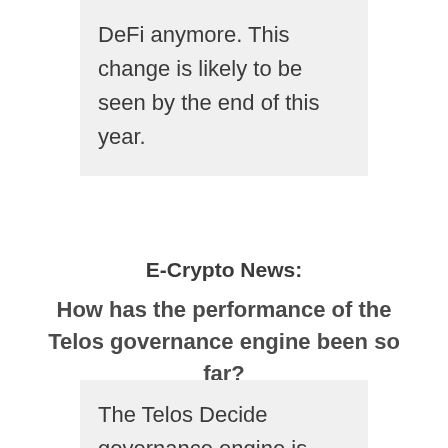DeFi anymore. This change is likely to be seen by the end of this year.
E-Crypto News:
How has the performance of the Telos governance engine been so far?
The Telos Decide governance engine is unparalleled by anything on or off of blockchain. It offers modular, configurable governance through